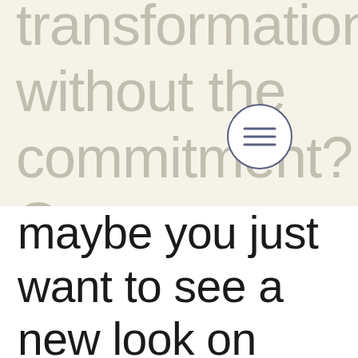transformation, without the commitment? Or maybe you just want to see a new look on yourself? The app Perfect 365© is one-of-a-kind, in that it easily allows you to
[Figure (other): Hamburger menu button icon — three horizontal lines inside a circle, positioned in upper right area over the faded background text]